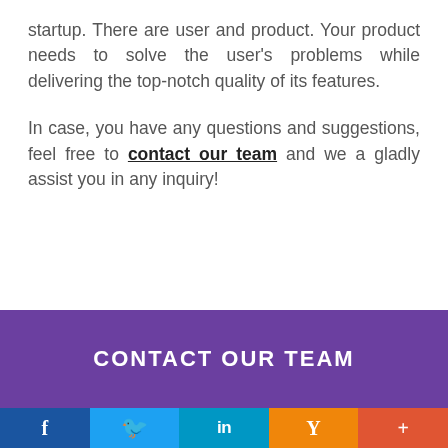startup. There are user and product. Your product needs to solve the user's problems while delivering the top-notch quality of its features.
In case, you have any questions and suggestions, feel free to contact our team and we a gladly assist you in any inquiry!
CONTACT OUR TEAM